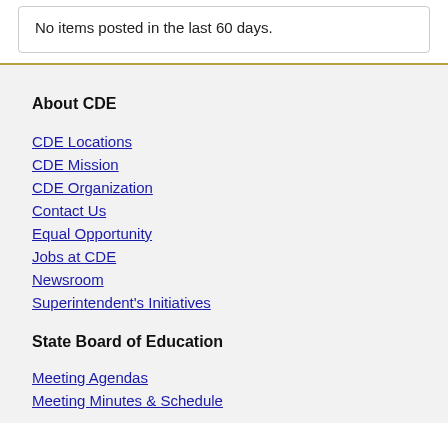No items posted in the last 60 days.
About CDE
CDE Locations
CDE Mission
CDE Organization
Contact Us
Equal Opportunity
Jobs at CDE
Newsroom
Superintendent's Initiatives
State Board of Education
Meeting Agendas
Meeting Minutes & Schedule